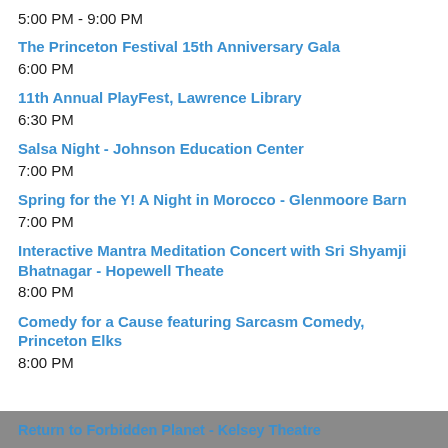5:00 PM - 9:00 PM
The Princeton Festival 15th Anniversary Gala
6:00 PM
11th Annual PlayFest, Lawrence Library
6:30 PM
Salsa Night - Johnson Education Center
7:00 PM
Spring for the Y! A Night in Morocco - Glenmoore Barn
7:00 PM
Interactive Mantra Meditation Concert with Sri Shyamji Bhatnagar - Hopewell Theate
8:00 PM
Comedy for a Cause featuring Sarcasm Comedy, Princeton Elks
8:00 PM
Return to Forbidden Planet - Kelsey Theatre